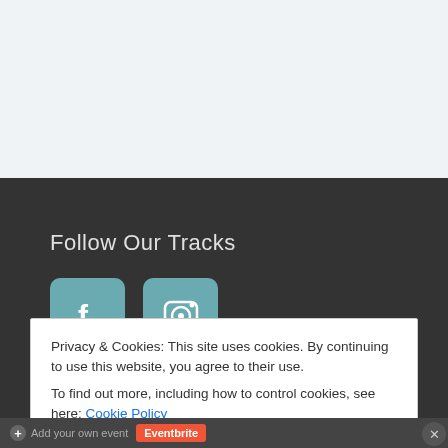[Figure (screenshot): Light grey top section of a webpage]
Follow Our Tracks
[Figure (illustration): Two teal/muted-blue social media icon buttons: Facebook (f) and Instagram (camera) on a dark background]
Privacy & Cookies: This site uses cookies. By continuing to use this website, you agree to their use.
To find out more, including how to control cookies, see here: Cookie Policy
Close and accept
+ Add your own event   Eventbrite